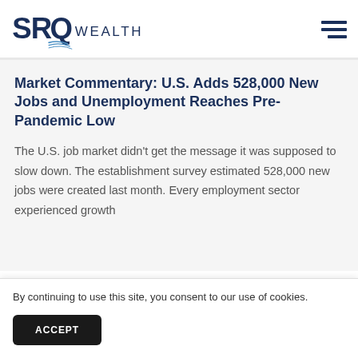SRQ WEALTH
Market Commentary: U.S. Adds 528,000 New Jobs and Unemployment Reaches Pre-Pandemic Low
The U.S. job market didn't get the message it was supposed to slow down. The establishment survey estimated 528,000 new jobs were created last month. Every employment sector experienced growth
By continuing to use this site, you consent to our use of cookies.